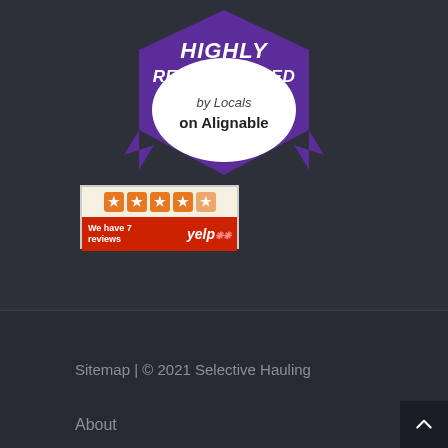[Figure (logo): Alignable badge: HIGHLY RECOMMENDED by Locals on Alignable. Purple shield/badge shape with white oval in center.]
[Figure (logo): Yelp review badge showing 4.5 orange stars and text 'We have 7 reviews' with Yelp logo on red background.]
Sitemap | © 2021 Selective Hauling
About